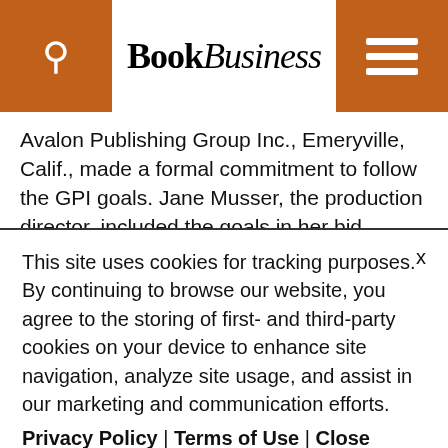BookBusiness
Avalon Publishing Group Inc., Emeryville, Calif., made a formal commitment to follow the GPI goals. Jane Musser, the production director, included the goals in her bid requests to suppliers to underscore the seriousness of the company's intentions. One of Musser's printers, Malloy Inc. in Ann Arbor, Mich., has recently begun stocking a wider range of environmental-paper offerings in response to customers like Avalon California.
This site uses cookies for tracking purposes. By continuing to browse our website, you agree to the storing of first- and third-party cookies on your device to enhance site navigation, analyze site usage, and assist in our marketing and communication efforts.
Privacy Policy | Terms of Use | Close